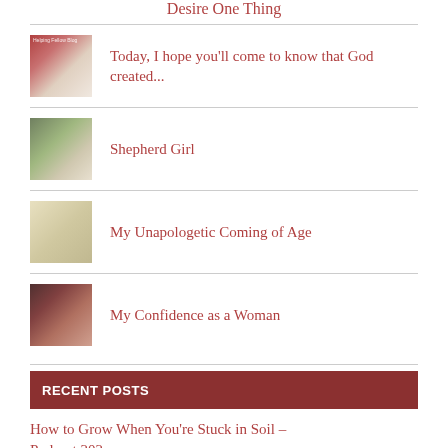Desire One Thing
Today, I hope you'll come to know that God created...
Shepherd Girl
My Unapologetic Coming of Age
My Confidence as a Woman
RECENT POSTS
How to Grow When You're Stuck in Soil – Podcast 202...